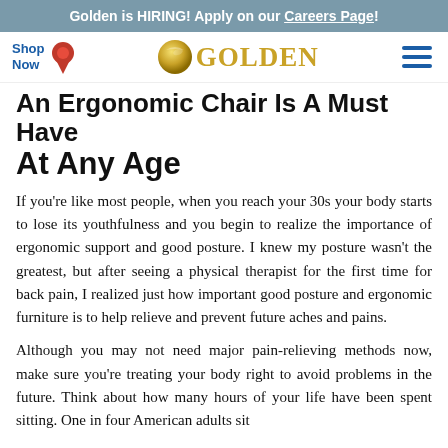Golden is HIRING! Apply on our Careers Page!
[Figure (logo): Golden Technologies logo with golden sphere icon and text 'GOLDEN' in gold serif, navigation bar with 'Shop Now' link with pin icon on left and hamburger menu on right]
An Ergonomic Chair Is A Must Have At Any Age
If you’re like most people, when you reach your 30s your body starts to lose its youthfulness and you begin to realize the importance of ergonomic support and good posture. I knew my posture wasn’t the greatest, but after seeing a physical therapist for the first time for back pain, I realized just how important good posture and ergonomic furniture is to help relieve and prevent future aches and pains.
Although you may not need major pain-relieving methods now, make sure you’re treating your body right to avoid problems in the future. Think about how many hours of your life have been spent sitting. One in four American adults sit